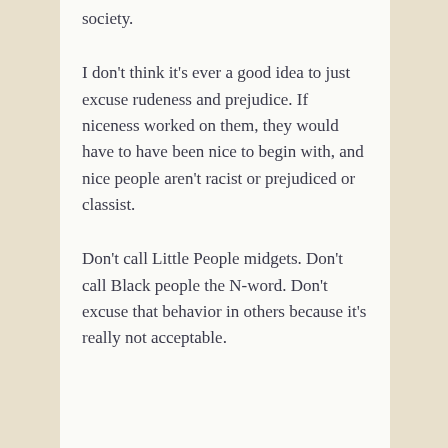society.
I don't think it's ever a good idea to just excuse rudeness and prejudice. If niceness worked on them, they would have to have been nice to begin with, and nice people aren't racist or prejudiced or classist.
Don't call Little People midgets. Don't call Black people the N-word. Don't excuse that behavior in others because it's really not acceptable.